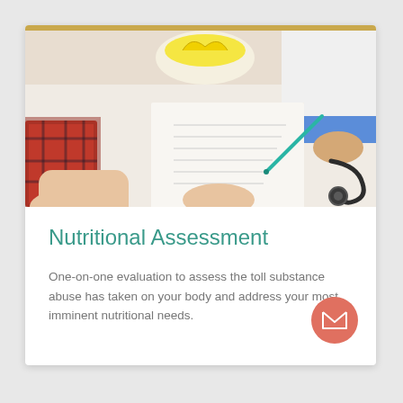[Figure (photo): Overhead view of a medical consultation: a patient in a plaid shirt rests arms on a white table, a doctor in a white coat writes on a document with a teal pen, stethoscope visible on the right, bowl of bananas in background.]
Nutritional Assessment
One-on-one evaluation to assess the toll substance abuse has taken on your body and address your most imminent nutritional needs.